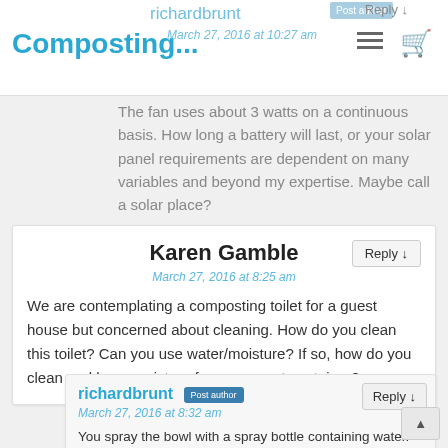Composting...
richardbrunt Post author Reply ↓ March 27, 2016 at 10:27 am
The fan uses about 3 watts on a continuous basis. How long a battery will last, or your solar panel requirements are dependent on many variables and beyond my expertise. Maybe call a solar place?
Karen Gamble
March 27, 2016 at 8:25 am
We are contemplating a composting toilet for a guest house but concerned about cleaning. How do you clean this toilet? Can you use water/moisture? If so, how do you clean and keep moisture from compost container?
richardbrunt Post author Reply ↓ March 27, 2016 at 8:32 am
You spray the bowl with a spray bottle containing water.